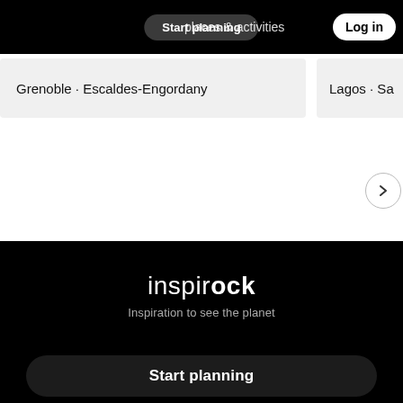Start planning   places & activities   Log in
Grenoble · Escaldes-Engordany
Lagos · Sa
inspirock
Inspiration to see the planet
Start planning